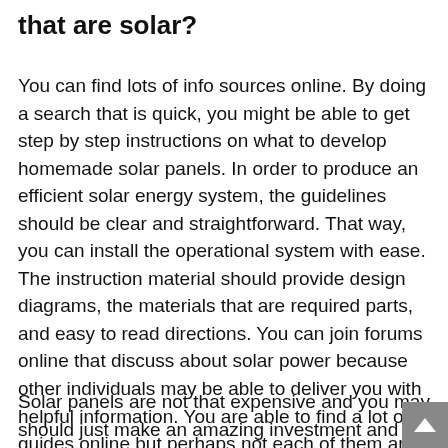that are solar?
You can find lots of info sources online. By doing a search that is quick, you might be able to get step by step instructions on what to develop homemade solar panels. In order to produce an efficient solar energy system, the guidelines should be clear and straightforward. That way, you can install the operational system with ease. The instruction material should provide design diagrams, the materials that are required parts, and easy to read directions. You can join forums online that discuss about solar power because other individuals may be able to deliver you with helpful information. You are able to find a lot of guides online but perhaps not each of them are of good use. You must pick out the guide that is right.
Solar panels are not that expensive and you may should just make an amazing investment and from then on, you'll